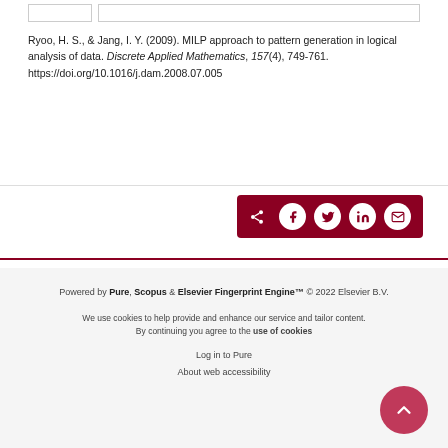Ryoo, H. S., & Jang, I. Y. (2009). MILP approach to pattern generation in logical analysis of data. Discrete Applied Mathematics, 157(4), 749-761. https://doi.org/10.1016/j.dam.2008.07.005
[Figure (other): Share bar with social media icons: share symbol, Facebook, Twitter, LinkedIn, Email on dark red background]
Powered by Pure, Scopus & Elsevier Fingerprint Engine™ © 2022 Elsevier B.V.
We use cookies to help provide and enhance our service and tailor content. By continuing you agree to the use of cookies
Log in to Pure
About web accessibility